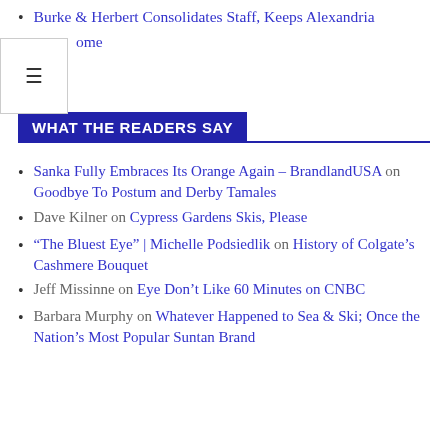Burke & Herbert Consolidates Staff, Keeps Alexandria Home
Sanka Fully Embraces Its Orange Again – BrandlandUSA on Goodbye To Postum and Derby Tamales
WHAT THE READERS SAY
Dave Kilner on Cypress Gardens Skis, Please
“The Bluest Eye” | Michelle Podsiedlik on History of Colgate’s Cashmere Bouquet
Jeff Missinne on Eye Don’t Like 60 Minutes on CNBC
Barbara Murphy on Whatever Happened to Sea & Ski; Once the Nation’s Most Popular Suntan Brand